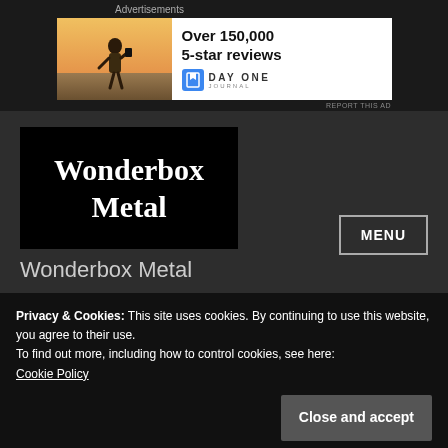Advertisements
[Figure (photo): Advertisement banner: photo of person on left, Day One Journal ad with 'Over 150,000 5-star reviews' text on right]
REPORT THIS AD
[Figure (logo): Wonderbox Metal logo in blackletter gothic font on black background]
MENU
Wonderbox Metal
Privacy & Cookies: This site uses cookies. By continuing to use this website, you agree to their use.
To find out more, including how to control cookies, see here:
Cookie Policy
Close and accept
Ghost